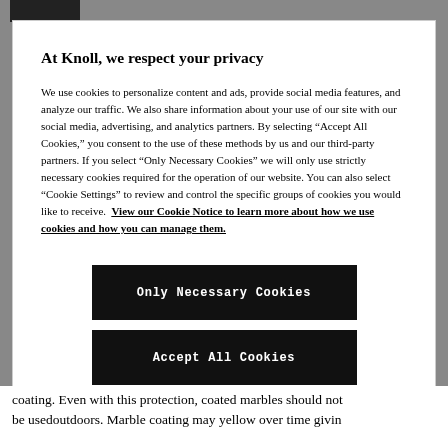[Figure (other): Black logo/image in top left corner]
At Knoll, we respect your privacy
We use cookies to personalize content and ads, provide social media features, and analyze our traffic. We also share information about your use of our site with our social media, advertising, and analytics partners. By selecting “Accept All Cookies,” you consent to the use of these methods by us and our third-party partners. If you select "Only Necessary Cookies" we will only use strictly necessary cookies required for the operation of our website. You can also select "Cookie Settings" to review and control the specific groups of cookies you would like to receive.  View our Cookie Notice to learn more about how we use cookies and how you can manage them.
Only Necessary Cookies
Accept All Cookies
Cookies Settings
coating. Even with this protection, coated marbles should not be usedoutdoors. Marble coating may yellow over time givin